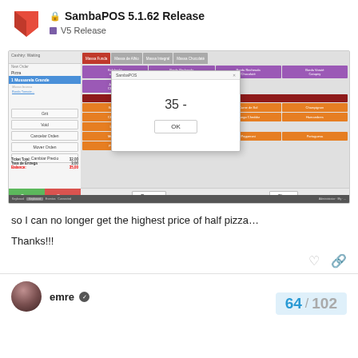SambaPOS 5.1.62 Release — V5 Release
[Figure (screenshot): SambaPOS point-of-sale software screenshot showing a pizza order with Mussarela Grande selected, a dialog box displaying '35 -' with an OK button, and a pizza topping selection panel with orange and purple buttons on the right side.]
so I can no longer get the highest price of half pizza…
Thanks!!!
emre
64 / 102